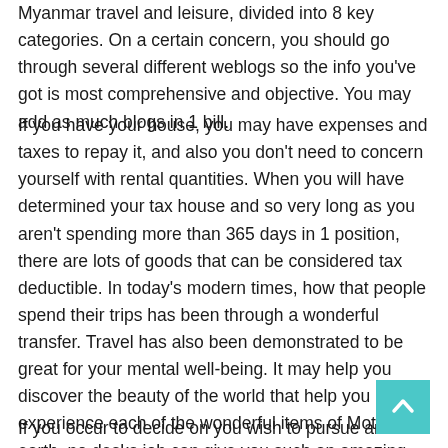Myanmar travel and leisure, divided into 8 key categories. On a certain concern, you should go through several different weblogs so the info you've got is most comprehensive and objective. You may add as much blogs in 1 bill.
If you have your house, you may have expenses and taxes to repay it, and also you don't need to concern yourself with rental quantities. When you will have determined your tax house and so very long as you aren't spending more than 365 days in 1 position, there are lots of goods that can be considered tax deductible. In today's modern times, how that people spend their trips has been through a wonderful transfer. Travel has also been demonstrated to be great for your mental well-being. It may help you discover the beauty of the world that help you experience each of the wonderful items of Mother earth, no desks job can give you such an amazing life. They have also helped the blogger to glimpse beyond him self and enjoy beauty of the world.
If you occur to decide on you wish to pursue another option